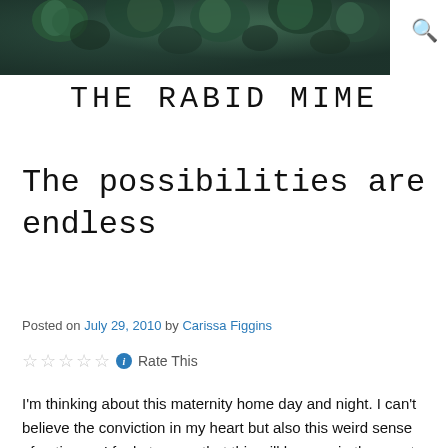[Figure (photo): Header photo of succulent plants in dark green tones]
THE RABID MIME
The possibilities are endless
Posted on July 29, 2010 by Carissa Figgins
☆☆☆☆☆ ℹ Rate This
I'm thinking about this maternity home day and night. I can't believe the conviction in my heart but also this weird sense of patience. I feel at peace that this will happen in the exact time that it needs to if I just keep working diligently, gathering information, gathering